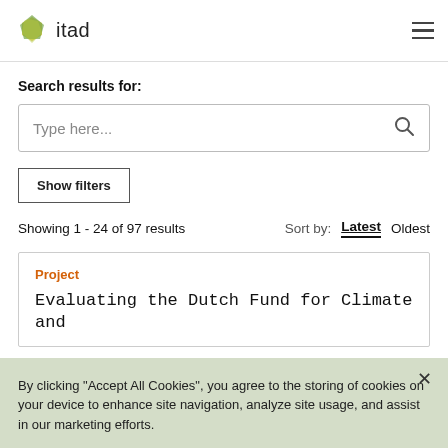itad
Search results for:
Type here...
Show filters
Showing 1 - 24 of 97 results   Sort by:  Latest  Oldest
Project
Evaluating the Dutch Fund for Climate and
By clicking “Accept All Cookies”, you agree to the storing of cookies on your device to enhance site navigation, analyze site usage, and assist in our marketing efforts.